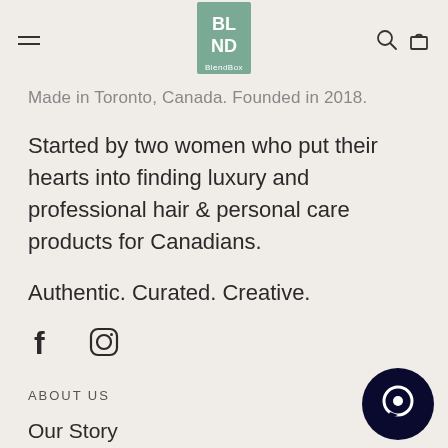BlendBox
Made in Toronto, Canada. Founded in 2018.
Started by two women who put their hearts into finding luxury and professional hair & personal care products for Canadians.
Authentic. Curated. Creative.
[Figure (illustration): Facebook and Instagram social media icons]
ABOUT US
Our Story
FAQs
[Figure (illustration): Dark navy chat/messaging bubble icon in bottom right corner]